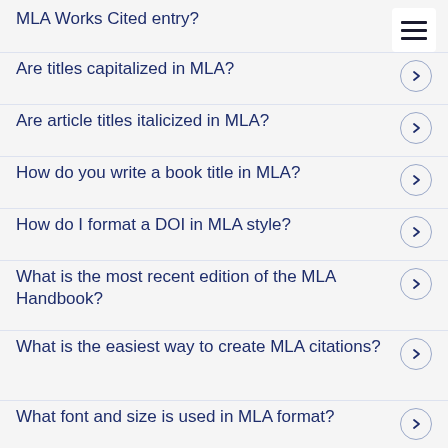MLA Works Cited entry?
Are titles capitalized in MLA?
Are article titles italicized in MLA?
How do you write a book title in MLA?
How do I format a DOI in MLA style?
What is the most recent edition of the MLA Handbook?
What is the easiest way to create MLA citations?
What font and size is used in MLA format?